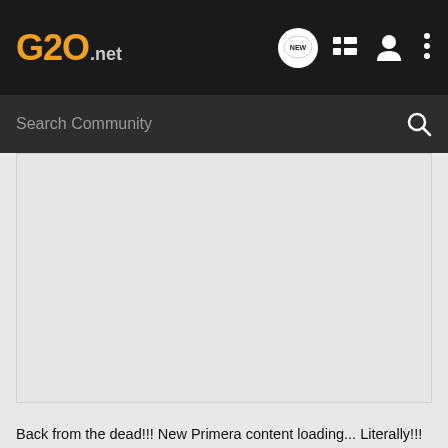G20.net — navigation bar with logo, chat/new icon, list icon, user icon, more icon
Search Community
[Figure (screenshot): Large blank/light gray image area representing a content thumbnail or banner image for a G20.net community post]
Back from the dead!!! New Primera content loading... Literally!!!